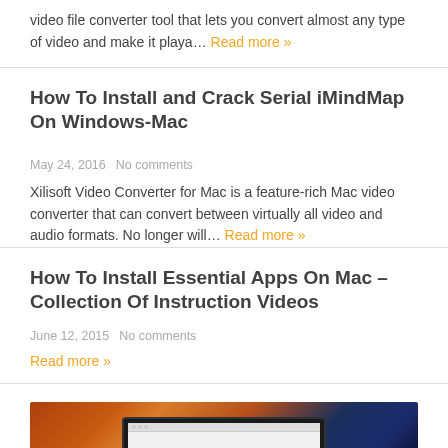video file converter tool that lets you convert almost any type of video and make it playa... Read more »
How To Install and Crack Serial iMindMap On Windows-Mac
May 24, 2016   No comments
Xilisoft Video Converter for Mac is a feature-rich Mac video converter that can convert between virtually all video and audio formats. No longer will... Read more »
How To Install Essential Apps On Mac – Collection Of Instruction Videos
June 12, 2015   No comments
Read more »
[Figure (photo): Laptop/tablet device screenshot at the bottom of the page]